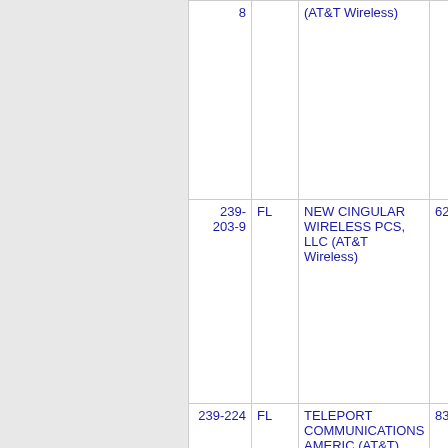| NXX | State | Company | OCN |
| --- | --- | --- | --- |
| 8 |  | (AT&T Wireless) |  |
| 239-203-9 | FL | NEW CINGULAR WIRELESS PCS, LLC (AT&T Wireless) | 6214 |
| 239-224 | FL | TELEPORT COMMUNICATIONS AMERIC (AT&T) | 8300 |